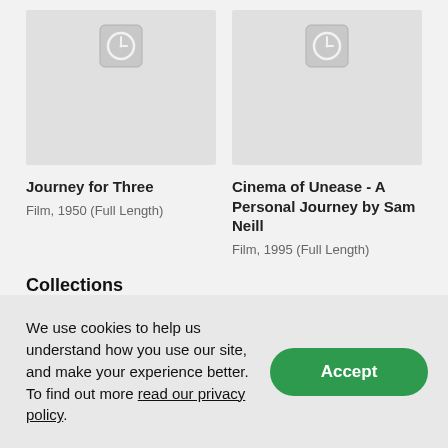[Figure (illustration): Placeholder image with clock icon for Journey for Three film]
[Figure (illustration): Placeholder image with clock icon for Cinema of Unease film]
Journey for Three
Film, 1950 (Full Length)
Cinema of Unease - A Personal Journey by Sam Neill
Film, 1995 (Full Length)
Collections
We use cookies to help us understand how you use our site, and make your experience better. To find out more read our privacy policy.